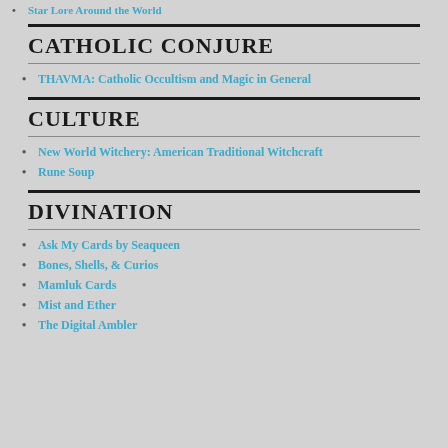Star Lore Around the World
CATHOLIC CONJURE
THAVMA: Catholic Occultism and Magic in General
CULTURE
New World Witchery: American Traditional Witchcraft
Rune Soup
DIVINATION
Ask My Cards by Seaqueen
Bones, Shells, & Curios
Mamluk Cards
Mist and Ether
The Digital Ambler